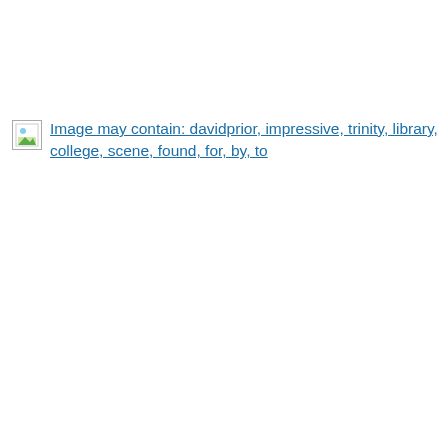[Figure (other): Broken image placeholder icon with linked text: Image may contain: davidprior, impressive, trinity, library, college, scene, found, for, by, to]